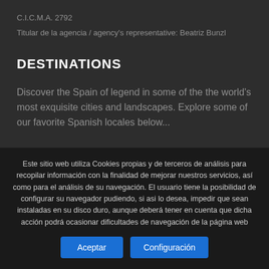C.I.C.M.A. 2792
Titular de la agencia / agency's representative: Beatriz Bunzl
DESTINATIONS
Discover the Spain of legend in some of the the world's most exquisite cities and landscapes. Explore some of our favorite Spanish locales below...
Este sitio web utiliza Cookies propias y de terceros de análisis para recopilar información con la finalidad de mejorar nuestros servicios, así como para el análisis de su navegación. El usuario tiene la posibilidad de configurar su navegador pudiendo, si asi lo desea, impedir que sean instaladas en su disco duro, aunque deberá tener en cuenta que dicha acción podrá ocasionar dificultades de navegación de la página web
Aceptar
Configuración